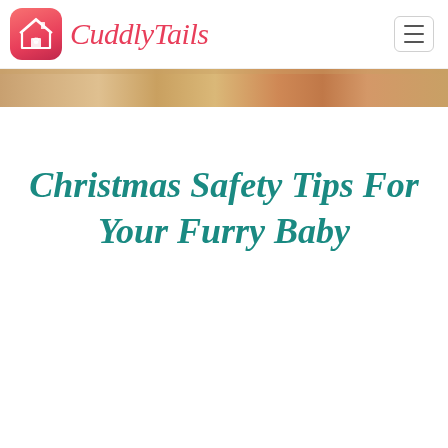CuddlyTails
[Figure (illustration): Hero banner image showing a wooden background in warm orange and brown tones]
Christmas Safety Tips For Your Furry Baby